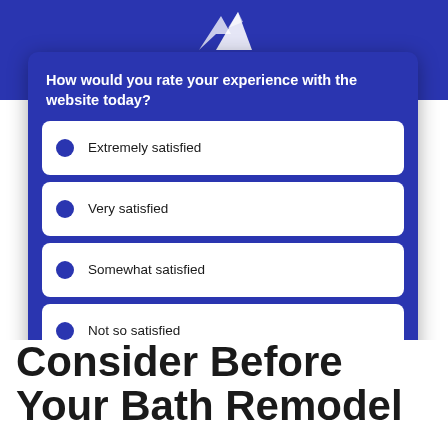[Figure (logo): Stylized white mountain/triangle logo on blue background]
How would you rate your experience with the website today?
Extremely satisfied
Very satisfied
Somewhat satisfied
Not so satisfied
Not at all satisfied
Powered by Survicate
Consider Before Your Bath Remodel